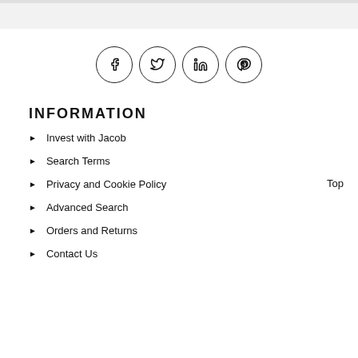[Figure (other): Four social media icons in circles: Facebook (f), Twitter (bird), LinkedIn (in), Pinterest (p)]
INFORMATION
Invest with Jacob
Search Terms
Privacy and Cookie Policy
Advanced Search
Orders and Returns
Contact Us
Top